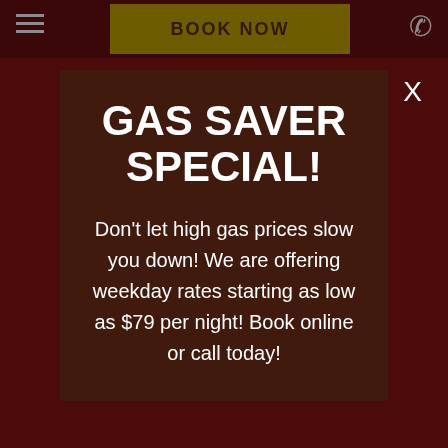[Figure (screenshot): Background of a hotel/lodging website with a dark red color scheme, hamburger menu icon on the left, a gold 'BOOK NOW' button in the center top, and a phone icon on the right.]
GAS SAVER SPECIAL!
Don't let high gas prices slow you down!  We are offering weekday rates starting as low as $79 per night!  Book online or call today!